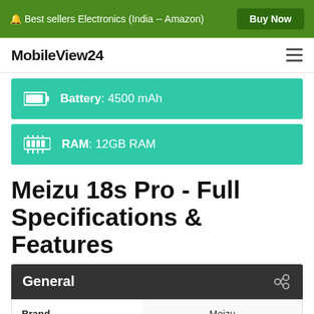🔔 Best sellers Electronics (India -- Amazon)  Buy Now
MobileView24
Battery: 4500 mAh
RAM: 12GB RAM
Meizu 18s Pro - Full Specifications & Features
General
| Brand |  |
| --- | --- |
| Brand | Meizu |